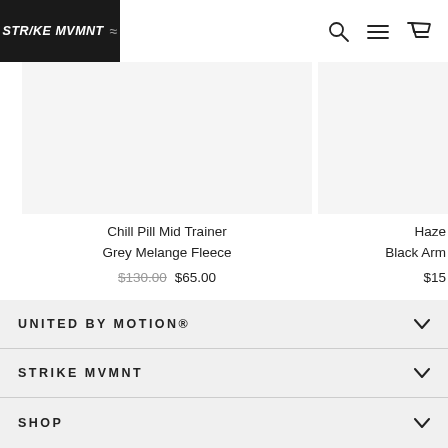STRIKE MVMNT ≈
[Figure (photo): Product image placeholder for Chill Pill Mid Trainer Grey Melange Fleece, light grey background]
Chill Pill Mid Trainer Grey Melange Fleece
$130.00  $65.00
[Figure (photo): Partially visible product image placeholder for Haze Black Arm product]
Haze
Black Arm
$15
UNITED BY MOTION®
STRIKE MVMNT
SHOP